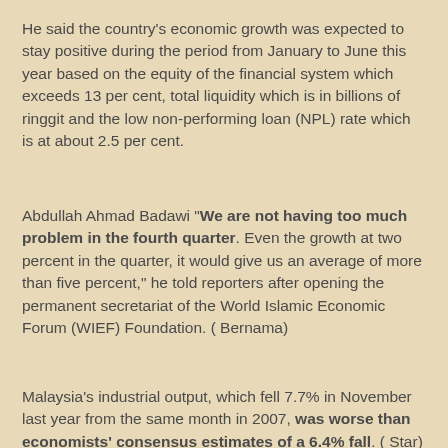He said the country's economic growth was expected to stay positive during the period from January to June this year based on the equity of the financial system which exceeds 13 per cent, total liquidity which is in billions of ringgit and the low non-performing loan (NPL) rate which is at about 2.5 per cent.
Abdullah Ahmad Badawi "We are not having too much problem in the fourth quarter. Even the growth at two percent in the quarter, it would give us an average of more than five percent," he told reporters after opening the permanent secretariat of the World Islamic Economic Forum (WIEF) Foundation. ( Bernama)
Malaysia's industrial output, which fell 7.7% in November last year from the same month in 2007, was worse than economists' consensus estimates of a 6.4% fall. ( Star) -